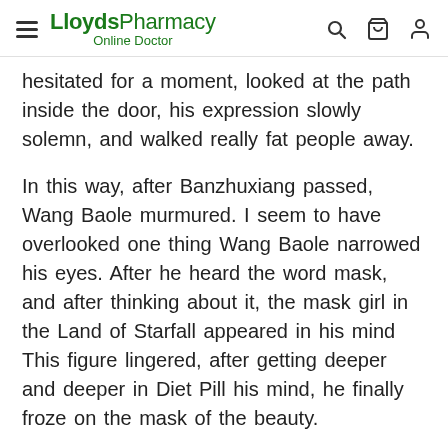LloydsPharmacy Online Doctor
hesitated for a moment, looked at the path inside the door, his expression slowly solemn, and walked really fat people away.
In this way, after Banzhuxiang passed, Wang Baole murmured. I seem to have overlooked one thing Wang Baole narrowed his eyes. After he heard the word mask, and after thinking about it, the mask girl in the Land of Starfall appeared in his mind This figure lingered, after getting deeper and deeper in Diet Pill his mind, he finally froze on the mask of the beauty.
Wang Baole coughed and felt that he was not a stingy person. Since Xie Haiyang is sincere here, it is difficult for me to grasp the past and not let go.